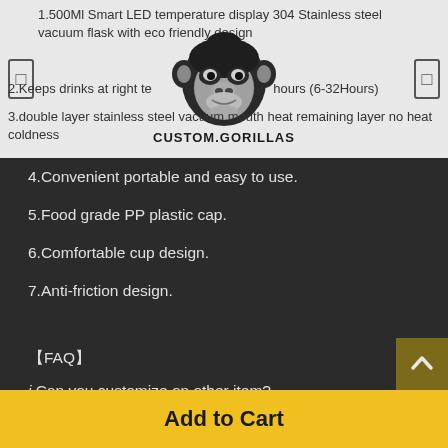1.500Ml Smart LED temperature display 304 Stainless steel vacuum flask with eco friendly design
[Figure (logo): Custom Gorillas logo with gorilla face illustration and text CUSTOM.GORILLAS]
2. Keeps drinks at right temperature for longer hours (6-32Hours)
3.double layer stainless steel vacuum mouth heat remaining layer for the coldness
4.Convenient portable and easy to use.
5.Food grade PP plastic cap.
6.Comfortable cup design.
7.Anti-friction design.
【FAQ】
ℹ Can you customize on other item?
YES, can. We can customise on:
1. Print your picture on Canvas
Add to Cart